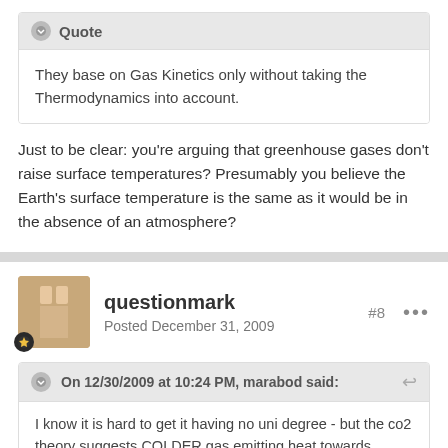Quote
They base on Gas Kinetics only without taking the Thermodynamics into account.
Just to be clear: you're arguing that greenhouse gases don't raise surface temperatures? Presumably you believe the Earth's surface temperature is the same as it would be in the absence of an atmosphere?
questionmark
Posted December 31, 2009
#8
On 12/30/2009 at 10:24 PM, marabod said:
I know it is hard to get it having no uni degree - but the co2 theory suggests COLDER gas emitting heat towards WARMER Earth